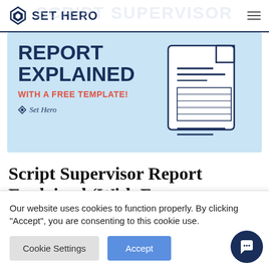SET HERO
[Figure (illustration): Banner image with light blue background showing 'REPORT EXPLAINED WITH A FREE TEMPLATE!' in bold dark navy and red text, with a document illustration on the right, and SetHero logo at bottom left.]
Script Supervisor Report Explained (With Free
Our website uses cookies to function properly. By clicking "Accept", you are consenting to this cookie use.